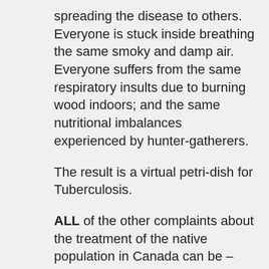spreading the disease to others. Everyone is stuck inside breathing the same smoky and damp air. Everyone suffers from the same respiratory insults due to burning wood indoors; and the same nutritional imbalances experienced by hunter-gatherers.
The result is a virtual petri-dish for Tuberculosis.
ALL of the other complaints about the treatment of the native population in Canada can be – and should be – ascribed to PROGRESSIVES – and the Leftist movement by the same name to impose a 'modern' and 'progressive' (and socialist) disorder onto the natives by